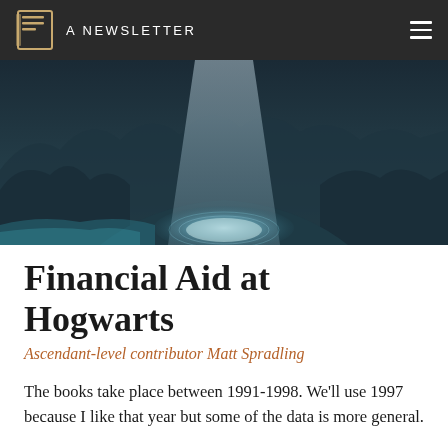A NEWSLETTER
[Figure (illustration): Fantasy illustration of a dark cave or dungeon with a beam of light shining down onto a glowing circular floor area, with shadowy rock formations or mountains in the background, rendered in dark teal and blue-grey tones.]
Financial Aid at Hogwarts
Ascendant-level contributor Matt Spradling
The books take place between 1991-1998. We'll use 1997 because I like that year but some of the data is more general.
The total population of the United Kingdom in 1997 was 58.32 million